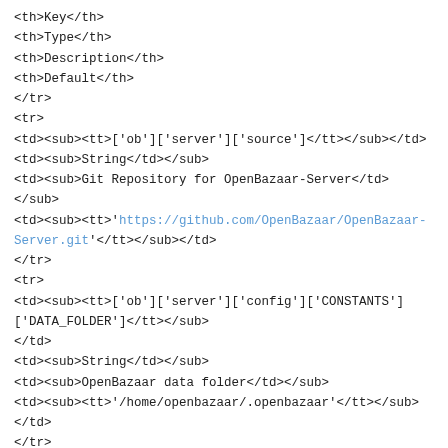<th>Key</th>
<th>Type</th>
<th>Description</th>
<th>Default</th>
</tr>
<tr>
<td><sub><tt>['ob']['server']['source']</tt></sub></td>
<td><sub>String</td></sub>
<td><sub>Git Repository for OpenBazaar-Server</td></sub>
<td><sub><tt>'https://github.com/OpenBazaar/OpenBazaar-Server.git'</tt></sub></td>
</tr>
<tr>
<td><sub><tt>['ob']['server']['config']['CONSTANTS']['DATA_FOLDER']</tt></sub></td>
<td><sub>String</td></sub>
<td><sub>OpenBazaar data folder</td></sub>
<td><sub><tt>'/home/openbazaar/.openbazaar'</tt></sub></td>
</tr>
<tr>
<td><sub><tt>['ob']['server']['config']['CONSTANTS']['KSIZE']</tt></sub></td>
<td><sub>Integer</td></sub>
<td><sub>Kademlia Protocol ksize</td></sub>
<td><sub><tt>20</tt></sub></td>